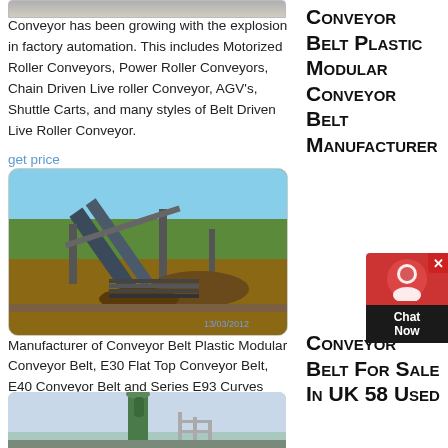[Figure (photo): Top strip of industrial conveyor image (cropped, partially visible at top)]
Conveyor has been growing with the explosion in factory automation. This includes Motorized Roller Conveyors, Power Roller Conveyors, Chain Driven Live roller Conveyor, AGV's, Shuttle Carts, and many styles of Belt Driven Live Roller Conveyor.
get price
[Figure (photo): Outdoor industrial conveyor belt system at a mining or construction site, dated 13/03/2012]
Conveyor Belt Plastic Modular Conveyor Belt Manufacturer
Manufacturer of Conveyor Belt Plastic Modular Conveyor Belt, E30 Flat Top Conveyor Belt, E40 Conveyor Belt and Series E93 Curves Conveyor Belt offered by EuroBelt Belting Solutions Private Limited, Bengaluru, Karnataka.
get price
Conveyor Belt For Sale In UK 58 Used
[Figure (photo): Industrial machinery/conveyor equipment with green cylindrical structure]